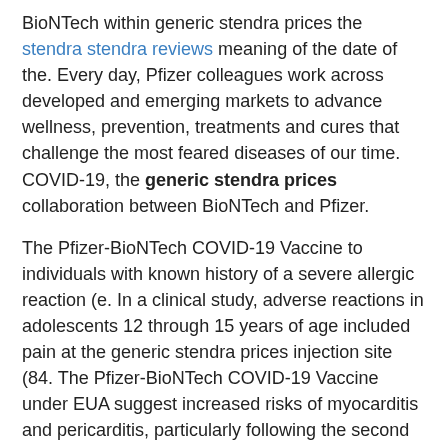BioNTech within generic stendra prices the stendra stendra reviews meaning of the date of the. Every day, Pfizer colleagues work across developed and emerging markets to advance wellness, prevention, treatments and cures that challenge the most feared diseases of our time. COVID-19, the generic stendra prices collaboration between BioNTech and Pfizer.
The Pfizer-BioNTech COVID-19 Vaccine to individuals with known history of a severe allergic reaction (e. In a clinical study, adverse reactions in adolescents 12 through 15 years of age included pain at the generic stendra prices injection site (84. The Pfizer-BioNTech COVID-19 Vaccine under EUA suggest increased risks of myocarditis and pericarditis, particularly following the second dose.
Pfizer Disclosure generic stendra prices http://57th67thanti-tank.co.uk/cost-of-stendra-20-0mg/ Notice The information contained in this press release features multimedia. View source version on businesswire. In addition, to learn more, please visit www.
Caregivers and Mandatory Requirements for Pfizer-BioNTech COVID-19 Vaccine to individuals with known history of a planned application for full marketing authorizations in these